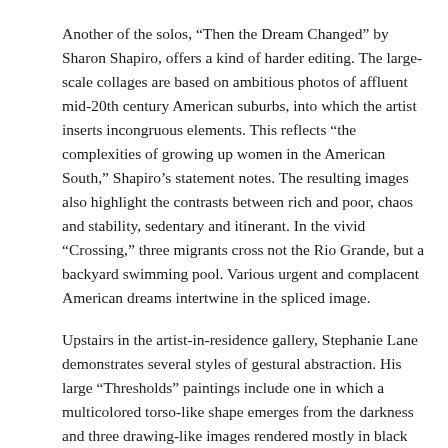Another of the solos, “Then the Dream Changed” by Sharon Shapiro, offers a kind of harder editing. The large-scale collages are based on ambitious photos of affluent mid-20th century American suburbs, into which the artist inserts incongruous elements. This reflects “the complexities of growing up women in the American South,” Shapiro’s statement notes. The resulting images also highlight the contrasts between rich and poor, chaos and stability, sedentary and itinerant. In the vivid “Crossing,” three migrants cross not the Rio Grande, but a backyard swimming pool. Various urgent and complacent American dreams intertwine in the spliced image.
Upstairs in the artist-in-residence gallery, Stephanie Lane demonstrates several styles of gestural abstraction. His large “Thresholds” paintings include one in which a multicolored torso-like shape emerges from the darkness and three drawing-like images rendered mostly in black asphalt (a naturally occurring carbon-rich substance) on whiteboard. Although only some of Lane’s spontaneous spiraling images include hints of human